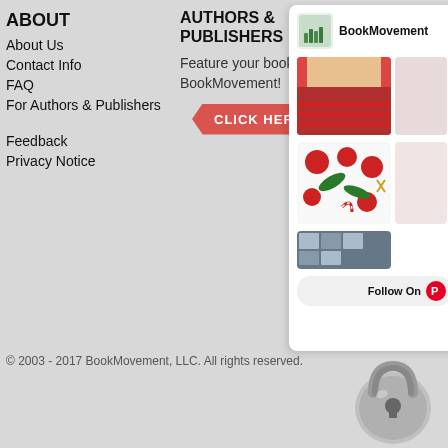ABOUT
About Us
Contact Info
FAQ
For Authors & Publishers
Feedback
Privacy Notice
AUTHORS & PUBLISHERS
Feature your book on BookMovement!
CLICK HERE
[Figure (screenshot): BookMovement Pinterest widget showing a BookMovement logo header, food/holiday imagery, Christmas ornament imagery, and a Follow On Pinterest button.]
© 2003 - 2017 BookMovement, LLC. All rights reserved.
[Figure (illustration): A padlock security icon in the bottom right corner.]